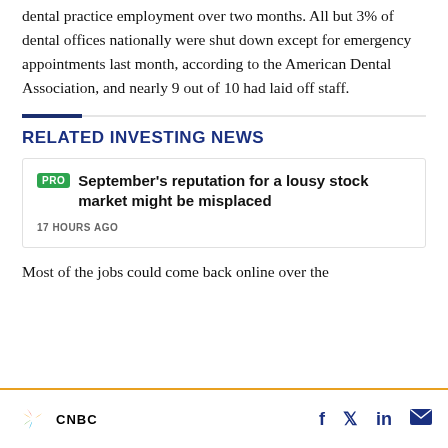dental practice employment over two months. All but 3% of dental offices nationally were shut down except for emergency appointments last month, according to the American Dental Association, and nearly 9 out of 10 had laid off staff.
RELATED INVESTING NEWS
PRO September's reputation for a lousy stock market might be misplaced
17 HOURS AGO
Most of the jobs could come back online over the
CNBC — Share via Facebook, Twitter, LinkedIn, Email